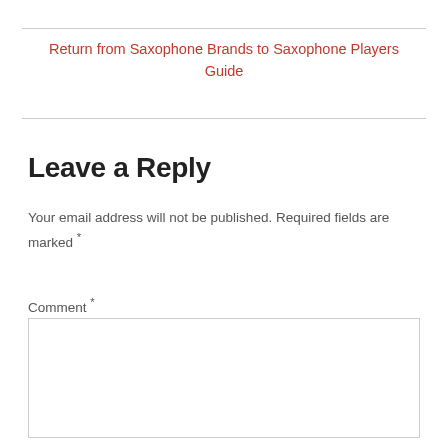Return from Saxophone Brands to Saxophone Players Guide
Your email address will not be published. Required fields are marked *
Leave a Reply
Comment *